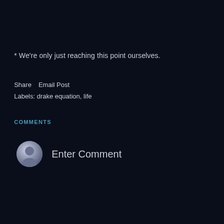* We're only just reaching this point ourselves.
Share    Email Post
Labels: drake equation, life
COMMENTS
Enter Comment